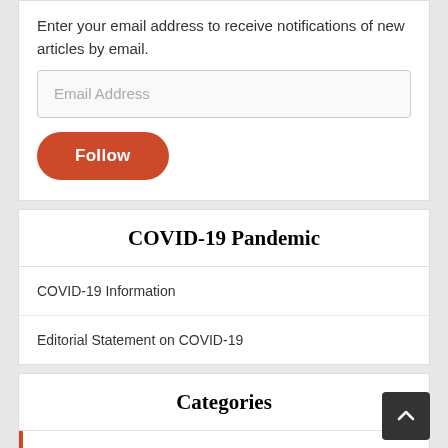Enter your email address to receive notifications of new articles by email.
Email Address
Follow
COVID-19 Pandemic
COVID-19 Information
Editorial Statement on COVID-19
Categories
Art
COP26